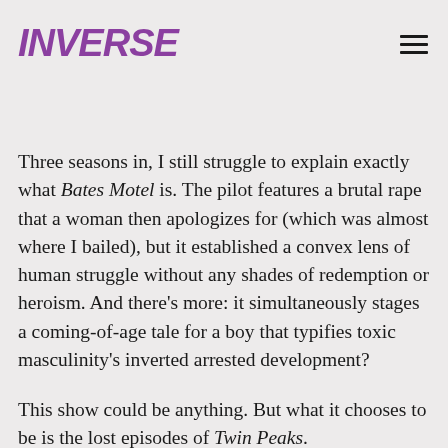INVERSE
Three seasons in, I still struggle to explain exactly what Bates Motel is. The pilot features a brutal rape that a woman then apologizes for (which was almost where I bailed), but it established a convex lens of human struggle without any shades of redemption or heroism. And there's more: it simultaneously stages a coming-of-age tale for a boy that typifies toxic masculinity's inverted arrested development?
This show could be anything. But what it chooses to be is the lost episodes of Twin Peaks.